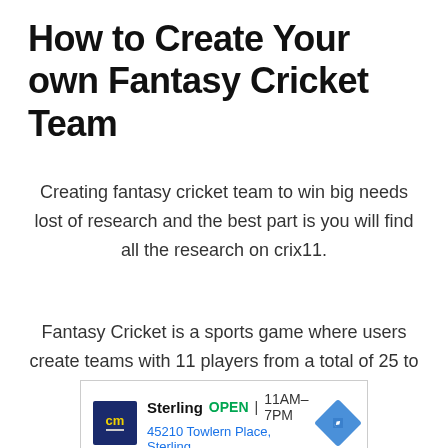How to Create Your own Fantasy Cricket Team
Creating fantasy cricket team to win big needs lost of research and the best part is you will find all the research on crix11.
Fantasy Cricket is a sports game where users create teams with 11 players from a total of 25 to 30.
[Figure (other): Advertisement banner for Sterling store showing logo, OPEN status, hours 11AM-7PM, address 45210 Towlern Place, Sterling, and a navigation arrow icon]